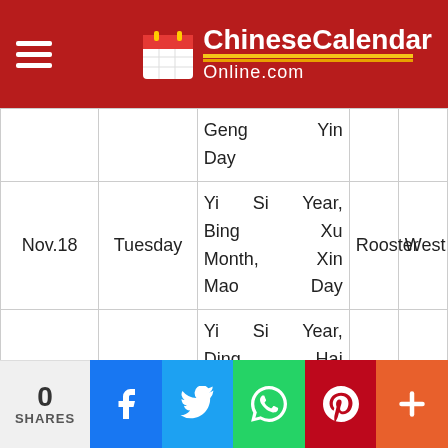ChineseCalendarOnline.com
| Date | Day | Chinese Calendar | Zodiac | Direction |
| --- | --- | --- | --- | --- |
|  |  | Geng Yin Day |  |  |
| Nov.18 | Tuesday | Yi Si Year, Bing Xu Month, Xin Mao Day | Rooster | West |
| Nov.21 | Friday | Yi Si Year, Ding Hai Month, Jia Wu Day | Rat | North |
| Nov.27 | Thursday | Yi Si Year, Ding Hai Month, | Horse | South |
0 SHARES | Facebook | Twitter | WhatsApp | Pinterest | More